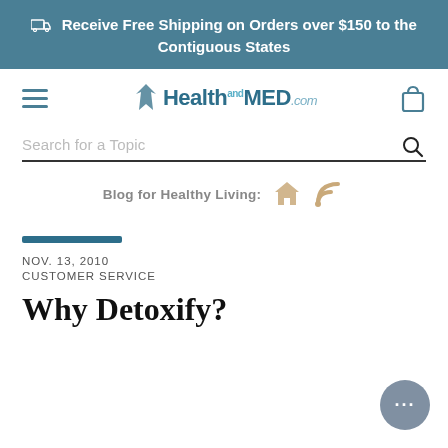Receive Free Shipping on Orders over $150 to the Contiguous States
[Figure (logo): HealthandMED.com logo with star/arrow icon]
Search for a Topic
Blog for Healthy Living:
NOV. 13, 2010
CUSTOMER SERVICE
Why Detoxify?